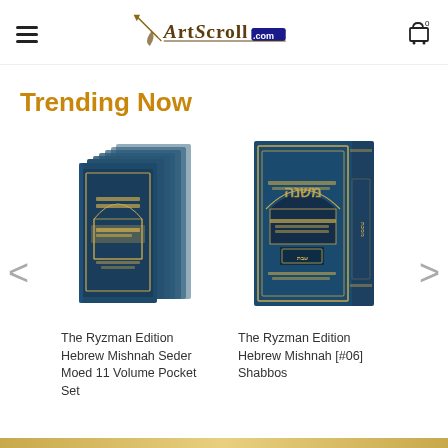ArtScroll.com
Trending Now
[Figure (illustration): Stack of blue hardcover books - The Ryzman Edition Hebrew Mishnah Seder Moed 11 Volume Pocket Set]
The Ryzman Edition Hebrew Mishnah Seder Moed 11 Volume Pocket Set
[Figure (illustration): Single blue hardcover book - The Ryzman Edition Hebrew Mishnah [#06] Shabbos]
The Ryzman Edition Hebrew Mishnah [#06] Shabbos